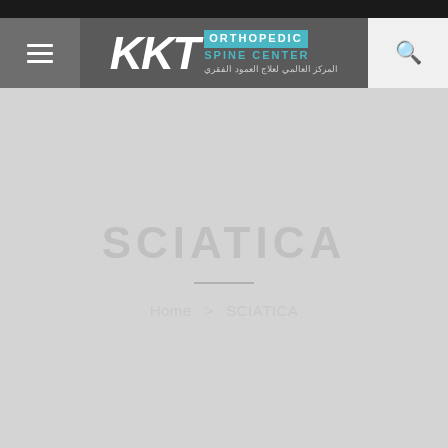[Figure (logo): KKT Orthopedic Spine Center logo with hamburger menu icon on left and search icon on right, all on a dark gray navigation bar]
SCIATICA
Home > SCIATICA